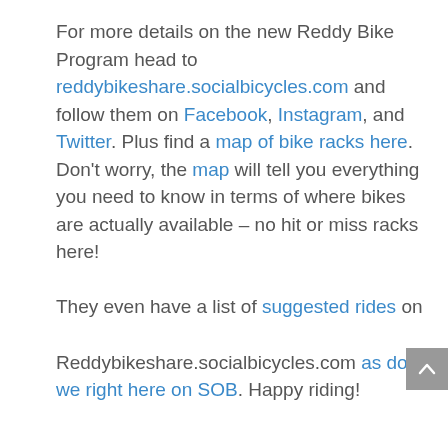For more details on the new Reddy Bike Program head to reddybikeshare.socialbicycles.com and follow them on Facebook, Instagram, and Twitter. Plus find a map of bike racks here. Don't worry, the map will tell you everything you need to know in terms of where bikes are actually available – no hit or miss racks here! They even have a list of suggested rides on Reddybikeshare.socialbicycles.com as do we right here on SOB. Happy riding!